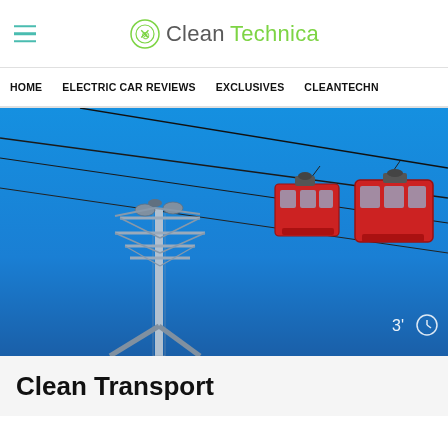CleanTechnica
HOME | ELECTRIC CAR REVIEWS | EXCLUSIVES | CLEANTECHN
[Figure (photo): Two red cable car gondolas hanging on overhead wires against a clear blue sky, with a large steel pylon/tower structure visible in the lower left portion of the image. A small timer badge '3'' with a clock icon is visible in the bottom right corner.]
Clean Transport